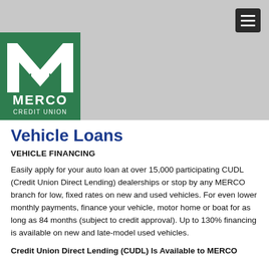[Figure (logo): Merco Credit Union logo — green square background with large white M letterform and 'MERCO CREDIT UNION' text below]
Vehicle Loans
VEHICLE FINANCING
Easily apply for your auto loan at over 15,000 participating CUDL (Credit Union Direct Lending) dealerships or stop by any MERCO branch for low, fixed rates on new and used vehicles. For even lower monthly payments, finance your vehicle, motor home or boat for as long as 84 months (subject to credit approval). Up to 130% financing is available on new and late-model used vehicles.
Credit Union Direct Lending (CUDL) Is Available to MERCO